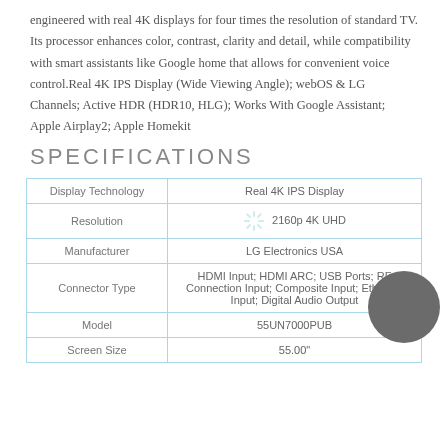engineered with real 4K displays for four times the resolution of standard TV. Its processor enhances color, contrast, clarity and detail, while compatibility with smart assistants like Google home that allows for convenient voice control.Real 4K IPS Display (Wide Viewing Angle); webOS & LG Channels; Active HDR (HDR10, HLG); Works With Google Assistant; Apple Airplay2; Apple Homekit
SPECIFICATIONS
|  |  |
| --- | --- |
| Display Technology | Real 4K IPS Display |
| Resolution | 2160p 4K UHD |
| Manufacturer | LG Electronics USA |
| Connector Type | HDMI Input; HDMI ARC; USB Ports; RF Connection Input; Composite Input; Ethernet Input; Digital Audio Output |
| Model | 55UN7000PUB |
| Screen Size | 55.00" |